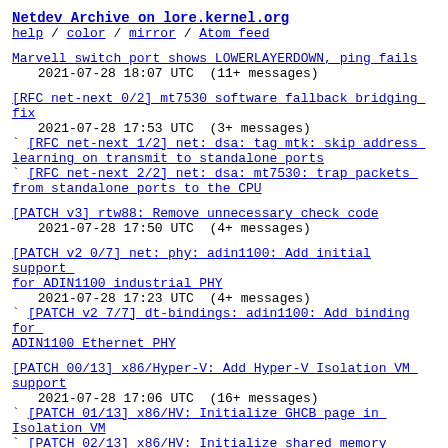Netdev Archive on lore.kernel.org
help / color / mirror / Atom feed
Marvell switch port shows LOWERLAYERDOWN, ping fails
 2021-07-28 18:07 UTC  (11+ messages)
[RFC net-next 0/2] mt7530 software fallback bridging fix
 2021-07-28 17:53 UTC  (3+ messages)
` [RFC net-next 1/2] net: dsa: tag_mtk: skip address learning on transmit to standalone ports
` [RFC net-next 2/2] net: dsa: mt7530: trap packets from standalone ports to the CPU
[PATCH v3] rtw88: Remove unnecessary check code
 2021-07-28 17:50 UTC  (4+ messages)
[PATCH v2 0/7] net: phy: adin1100: Add initial support for ADIN1100 industrial PHY
 2021-07-28 17:23 UTC  (4+ messages)
` [PATCH v2 7/7] dt-bindings: adin1100: Add binding for ADIN1100 Ethernet PHY
[PATCH 00/13] x86/Hyper-V: Add Hyper-V Isolation VM support
 2021-07-28 17:06 UTC  (16+ messages)
` [PATCH 01/13] x86/HV: Initialize GHCB page in Isolation VM
` [PATCH 02/13] x86/HV: Initialize shared memory boundary in the "